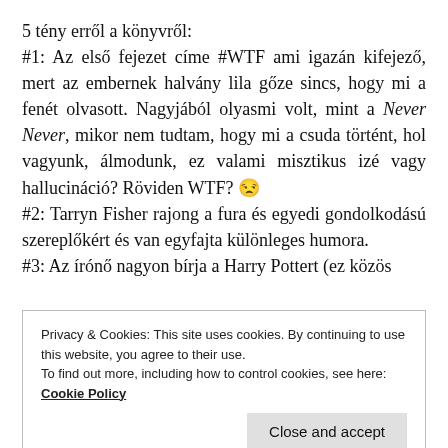5 tény erről a könyvről:
#1: Az első fejezet címe #WTF ami igazán kifejező, mert az embernek halvány lila gőze sincs, hogy mi a fenét olvasott. Nagyjából olyasmi volt, mint a Never Never, mikor nem tudtam, hogy mi a csuda történt, hol vagyunk, álmodunk, ez valami misztikus izé vagy hallucináció? Röviden WTF? 😐
#2: Tarryn Fisher rajong a fura és egyedi gondolkodású szereplőkért és van egyfajta különleges humora.
#3: Az írónő nagyon bírja a Harry Pottert (ez közös
Privacy & Cookies: This site uses cookies. By continuing to use this website, you agree to their use.
To find out more, including how to control cookies, see here:
Cookie Policy
Close and accept
#4: Tarryn Fishernek nagyon egyedi a stílusa. Ezt